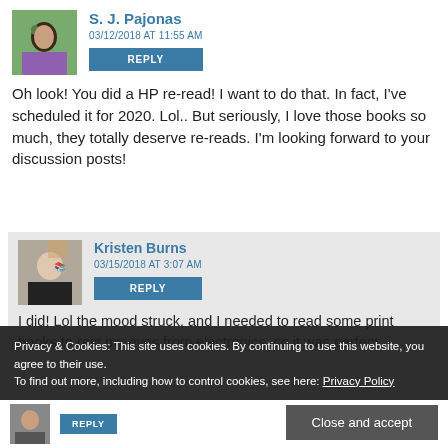S. J. Pajonas
03/12/2018 AT 11:55 AM
REPLY
Oh look! You did a HP re-read! I want to do that. In fact, I've scheduled it for 2020. Lol.. But seriously, I love those books so much, they totally deserve re-reads. I'm looking forward to your discussion posts!
Kristen Burns
03/15/2018 AT 3:07 AM
REPLY
I did! Lol the mood struck, and I needed to read some print books to rest my eyes from electronics, so it was perfect
Privacy & Cookies: This site uses cookies. By continuing to use this website, you agree to their use.
To find out more, including how to control cookies, see here: Privacy Policy
Close and accept
REPLY